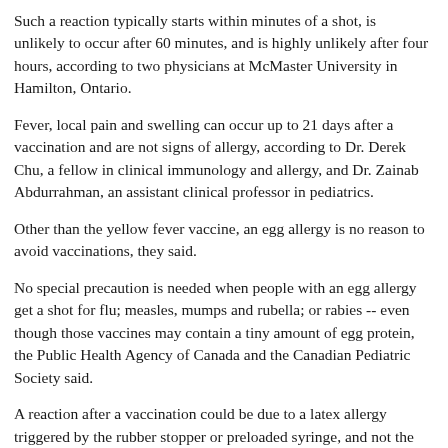Such a reaction typically starts within minutes of a shot, is unlikely to occur after 60 minutes, and is highly unlikely after four hours, according to two physicians at McMaster University in Hamilton, Ontario.
Fever, local pain and swelling can occur up to 21 days after a vaccination and are not signs of allergy, according to Dr. Derek Chu, a fellow in clinical immunology and allergy, and Dr. Zainab Abdurrahman, an assistant clinical professor in pediatrics.
Other than the yellow fever vaccine, an egg allergy is no reason to avoid vaccinations, they said.
No special precaution is needed when people with an egg allergy get a shot for flu; measles, mumps and rubella; or rabies -- even though those vaccines may contain a tiny amount of egg protein, the Public Health Agency of Canada and the Canadian Pediatric Society said.
A reaction after a vaccination could be due to a latex allergy triggered by the rubber stopper or preloaded syringe, and not the actual vaccine.
If you actually have a vaccine allergy, an allergist can give you the vaccine a bit at a time, the doctors said.